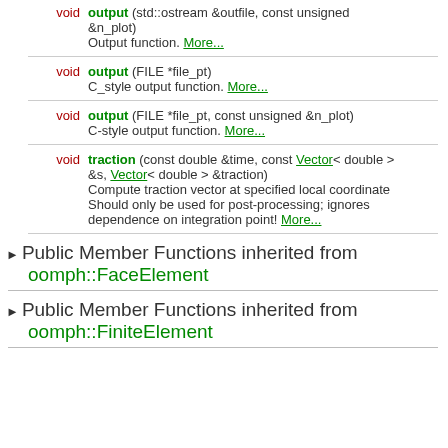void output (std::ostream &outfile, const unsigned &n_plot)
Output function. More...
void output (FILE *file_pt)
C_style output function. More...
void output (FILE *file_pt, const unsigned &n_plot)
C-style output function. More...
void traction (const double &time, const Vector< double > &s, Vector< double > &traction)
Compute traction vector at specified local coordinate Should only be used for post-processing; ignores dependence on integration point! More...
Public Member Functions inherited from oomph::FaceElement
Public Member Functions inherited from oomph::FiniteElement